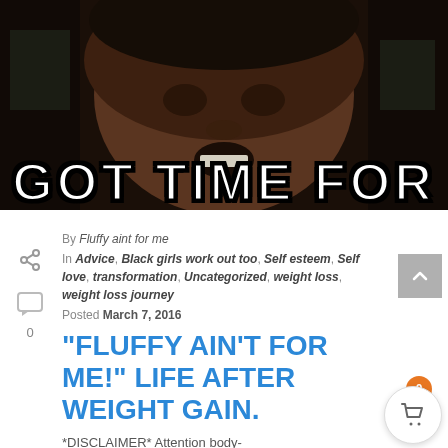[Figure (photo): Meme image of a person making a facial expression with bold white meme text at the bottom reading 'GOT TIME FOR']
By Fluffy aint for me
In Advice, Black girls work out too, Self esteem, Self love, transformation, Uncategorized, weight loss, weight loss journey
Posted March 7, 2016
“FLUFFY AIN’T FOR ME!” LIFE AFTER WEIGHT GAIN.
*DISCLAIMER*  Attention body-